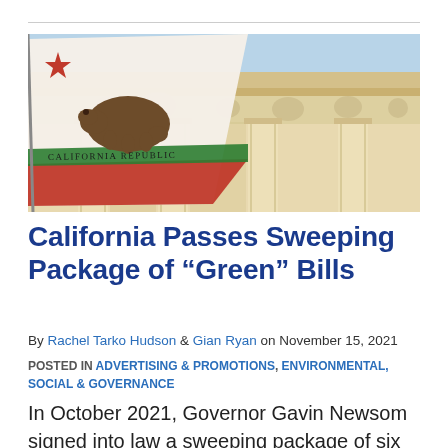[Figure (photo): California state flag waving in front of a neoclassical government building facade with columns and sculptural decoration]
California Passes Sweeping Package of “Green” Bills
By Rachel Tarko Hudson & Gian Ryan on November 15, 2021
POSTED IN ADVERTISING & PROMOTIONS, ENVIRONMENTAL, SOCIAL & GOVERNANCE
In October 2021, Governor Gavin Newsom signed into law a sweeping package of six bills